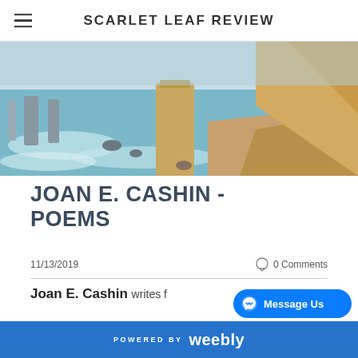SCARLET LEAF REVIEW
[Figure (photo): Coastal cliff landscape with sea stacks and sandy beach, waves crashing on shore]
JOAN E. CASHIN - POEMS
11/13/2019   0 Comments
Joan E. Cashin writes f…
POWERED BY weebly